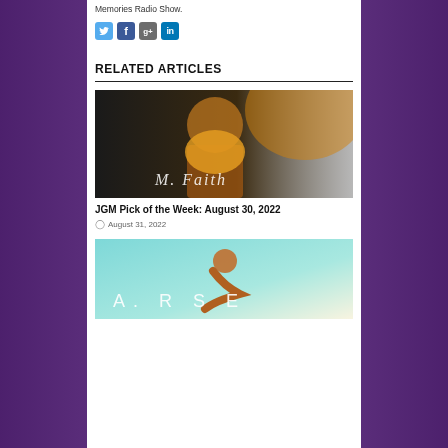Memories Radio Show.
[Figure (other): Social media share icons: Twitter (blue bird), Facebook (blue f), Google+ (grey g+), LinkedIn (blue in)]
RELATED ARTICLES
[Figure (photo): Woman in yellow long-sleeve top leaning forward, dark background, cursive text overlay reading M. Faith]
JGM Pick of the Week: August 30, 2022
August 31, 2022
[Figure (photo): Person in athletic pose on light blue/white background, text overlay reading A. R. S. E (ARISE)]